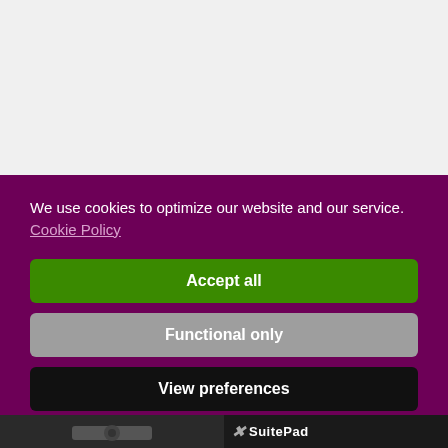We use cookies to optimize our website and our service.  Cookie Policy
Accept all
Functional only
View preferences
[Figure (screenshot): Bottom strip showing a product image on the left and SuitePad logo on the right]